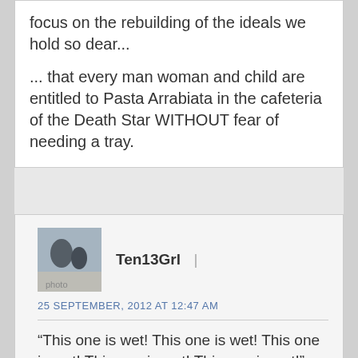focus on the rebuilding of the ideals we hold so dear...
... that every man woman and child are entitled to Pasta Arrabiata in the cafeteria of the Death Star WITHOUT fear of needing a tray.
Ten13Grl  |
25 SEPTEMBER, 2012 AT 12:47 AM
“This one is wet! This one is wet! This one is wet! This one is wet! This one is wet!”